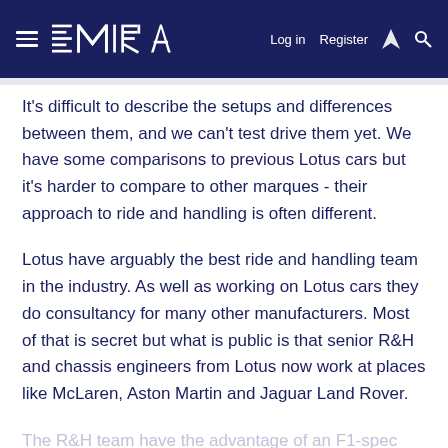EMIRA  Log in  Register
It's difficult to describe the setups and differences between them, and we can't test drive them yet. We have some comparisons to previous Lotus cars but it's harder to compare to other marques - their approach to ride and handling is often different.
Lotus have arguably the best ride and handling team in the industry. As well as working on Lotus cars they do consultancy for many other manufacturers. Most of that is secret but what is public is that senior R&H and chassis engineers from Lotus now work at places like McLaren, Aston Martin and Jaguar Land Rover.
The R&H team have the advantage of an F1-spec test track on site and development drivers who have race-winning experience as well as their engineering